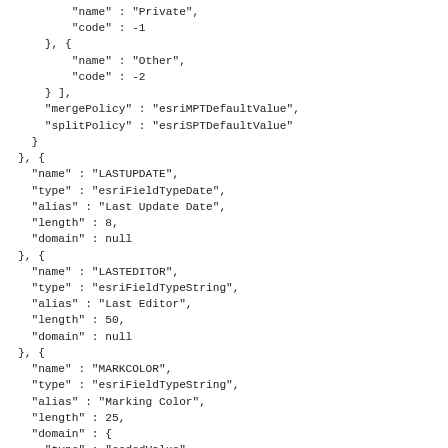JSON code snippet showing field definitions including LASTUPDATE, LASTEDITOR, and MARKCOLOR fields with domain information and coded values for pavement marking colors (White, Yellow, Red)